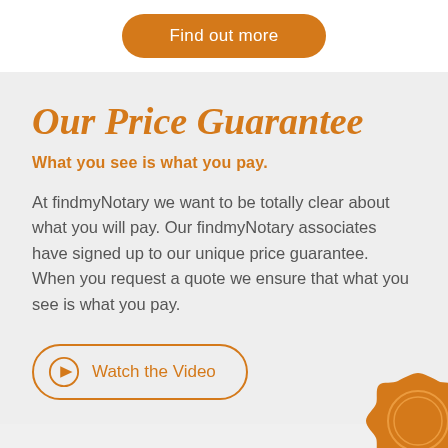Find out more
Our Price Guarantee
What you see is what you pay.
At findmyNotary we want to be totally clear about what you will pay. Our findmyNotary associates have signed up to our unique price guarantee. When you request a quote we ensure that what you see is what you pay.
[Figure (other): Watch the Video button with play icon circle and orange border]
[Figure (illustration): Orange wax seal partially visible at bottom right corner]